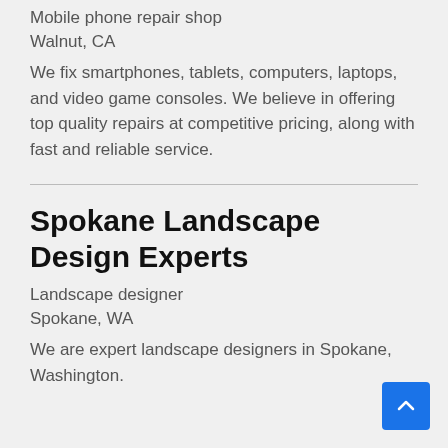Mobile phone repair shop
Walnut, CA
We fix smartphones, tablets, computers, laptops, and video game consoles. We believe in offering top quality repairs at competitive pricing, along with fast and reliable service.
Spokane Landscape Design Experts
Landscape designer
Spokane, WA
We are expert landscape designers in Spokane, Washington.